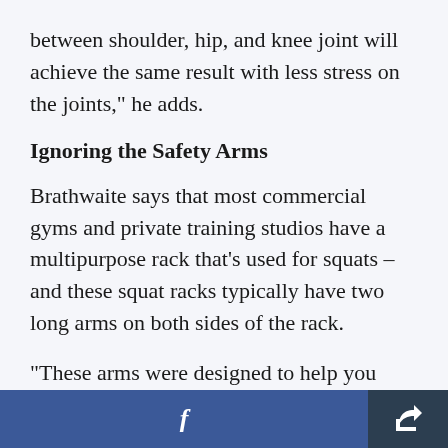between shoulder, hip, and knee joint will achieve the same result with less stress on the joints," he adds.
Ignoring the Safety Arms
Brathwaite says that most commercial gyms and private training studios have a multipurpose rack that's used for squats – and these squat racks typically have two long arms on both sides of the rack.
"These arms were designed to help you safely